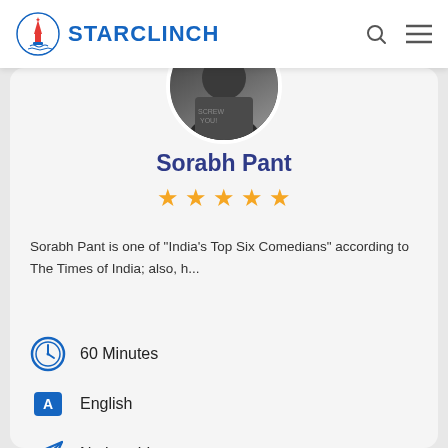STARCLINCH
Sorabh Pant
★★★★★
Sorabh Pant is one of "India's Top Six Comedians" according to The Times of India; also, h...
60 Minutes
English
Nationwide